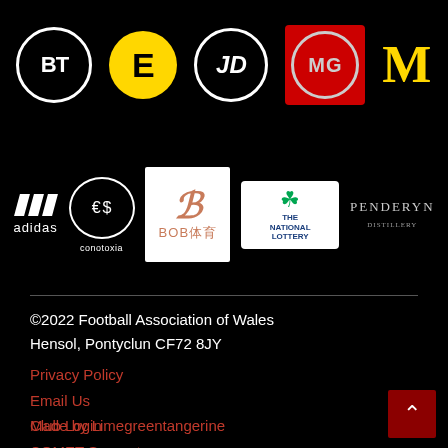[Figure (logo): Sponsor logos row 1: BT, EE, JD, MG, McDonald's]
[Figure (logo): Sponsor logos row 2: adidas, conotoxia, BOB体育, The National Lottery, Penderyn]
©2022 Football Association of Wales
Hensol, Pontyclun CF72 8JY
Privacy Policy
Email Us
Club Login
COMET Support
Nodiant
Handbook
Made by Limegreentangerine